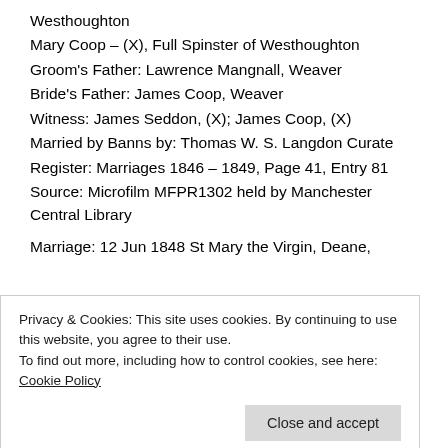Westhoughton
Mary Coop – (X), Full Spinster of Westhoughton
Groom's Father: Lawrence Mangnall, Weaver
Bride's Father: James Coop, Weaver
Witness: James Seddon, (X); James Coop, (X)
Married by Banns by: Thomas W. S. Langdon Curate
Register: Marriages 1846 – 1849, Page 41, Entry 81
Source: Microfilm MFPR1302 held by Manchester Central Library
Marriage: 12 Jun 1848 St Mary the Virgin, Deane,
Privacy & Cookies: This site uses cookies. By continuing to use this website, you agree to their use.
To find out more, including how to control cookies, see here: Cookie Policy
Close and accept
Bride's Father: Benjamin Hurst, Weaver